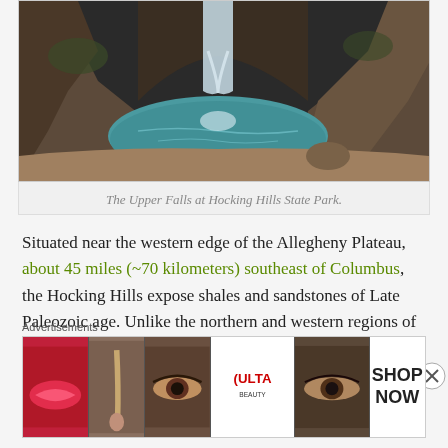[Figure (photo): Waterfall at Upper Falls, Hocking Hills State Park — water cascades over sandstone rocks into a teal-green pool surrounded by canyon walls]
The Upper Falls at Hocking Hills State Park.
Situated near the western edge of the Allegheny Plateau, about 45 miles (~70 kilometers) southeast of Columbus, the Hocking Hills expose shales and sandstones of Late Paleozoic age. Unlike the northern and western regions of Ohio, this area was not beveled flat by glaciers during the Pleistocene and thus retains a rugged topography.
Advertisements
[Figure (photo): ULTA Beauty advertisement banner showing makeup and eyes]